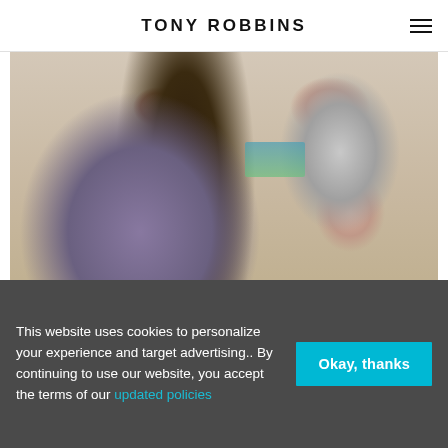TONY ROBBINS
[Figure (photo): Two women in a tense conversation; one on the left has long dark hair and holds her hand to her face looking distressed, wearing a purple top; the other on the right has blonde hair and is gesturing with an open hand, wearing a gray top. Background shows a light wall with a blue-green colored item.]
Love & Relationships
This website uses cookies to personalize your experience and target advertising.. By continuing to use our website, you accept the terms of our updated policies